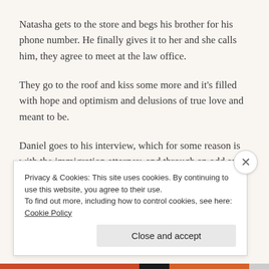Natasha gets to the store and begs his brother for his phone number. He finally gives it to her and she calls him, they agree to meet at the law office.
They go to the roof and kiss some more and it's filled with hope and optimism and delusions of true love and meant to be.
Daniel goes to his interview, which for some reason is with the immigration attorney, and through an odd and unethical conversation the lawyer admits that Natasha
Privacy & Cookies: This site uses cookies. By continuing to use this website, you agree to their use.
To find out more, including how to control cookies, see here: Cookie Policy
Close and accept